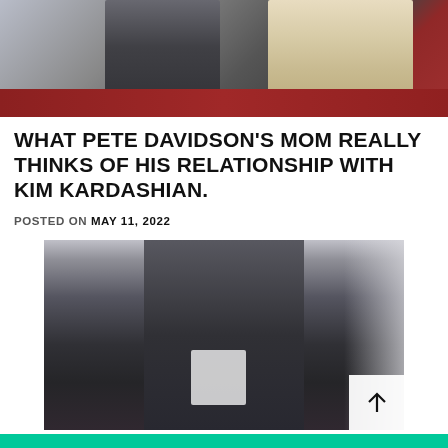[Figure (photo): Two people standing together, one in a dark suit on the left and one in a white/cream fluffy coat on the right, with a red carpet/background visible]
WHAT PETE DAVIDSON'S MOM REALLY THINKS OF HIS RELATIONSHIP WITH KIM KARDASHIAN.
POSTED ON MAY 11, 2022
[Figure (photo): Person in dark outfit standing indoors, with a scroll-to-top button overlay in the bottom right corner]
KANYE WEST BROKE UP WITH NEW GIRLFRIEND: S